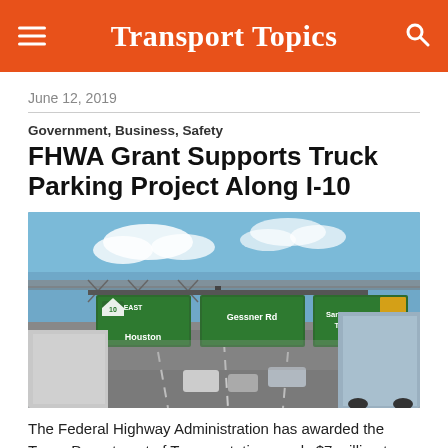Transport Topics
June 12, 2019
Government, Business, Safety
FHWA Grant Supports Truck Parking Project Along I-10
[Figure (photo): Highway photo showing Interstate 10 in Texas with large green directional signs for Houston, Gessner Rd, and Sam Houston Tollway, with semi-trucks and cars visible on the road.]
The Federal Highway Administration has awarded the Texas Department of Transportation nearly $7 million to fund a truck parking availability system along Interstate